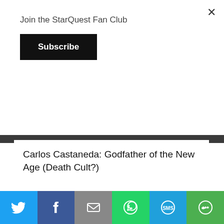Join the StarQuest Fan Club
Subscribe
Carlos Castaneda: Godfather of the New Age (Death Cult?)
[Figure (photo): Podcast thumbnail image showing text '#132: Carlos Castaneda: New Age Death Cult?' overlaid on a painting of a figure with a glowing white head wearing a brown coat against a blue sky background.]
[Figure (infographic): Social media sharing bar with icons for Twitter, Facebook, Email, WhatsApp, SMS, and More options.]